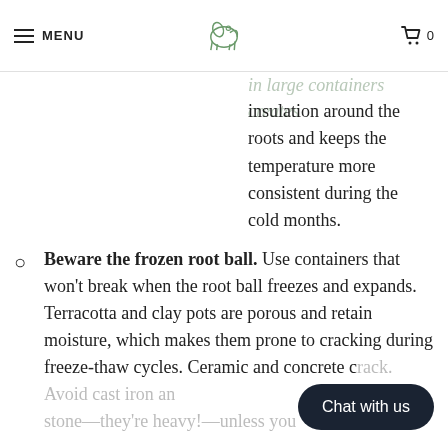MENU | [elephant logo] | 0
insulation around the roots and keeps the temperature more consistent during the cold months.
Beware the frozen root ball. Use containers that won't break when the root ball freezes and expands. Terracotta and clay pots are porous and retain moisture, which makes them prone to cracking during freeze-thaw cycles. Ceramic and concrete c[rack. Avoid cast iron an[d stone—they're heavy!—unless you